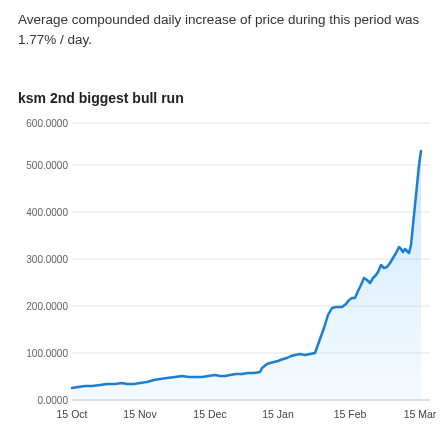Average compounded daily increase of price during this period was 1.77% / day.
[Figure (area-chart): ksm 2nd biggest bull run]